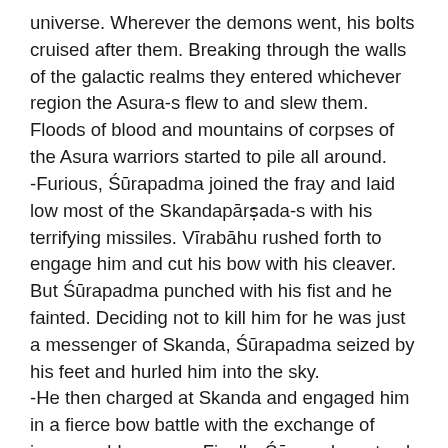universe. Wherever the demons went, his bolts cruised after them. Breaking through the walls of the galactic realms they entered whichever region the Asura-s flew to and slew them. Floods of blood and mountains of corpses of the Asura warriors started to pile all around. -Furious, Śūrapadma joined the fray and laid low most of the Skandapārṣada-s with his terrifying missiles. Vīrabāhu rushed forth to engage him and cut his bow with his cleaver. But Śūrapadma punched with his fist and he fainted. Deciding not to kill him for he was just a messenger of Skanda, Śūrapadma seized by his feet and hurled him into the sky. -He then charged at Skanda and engaged him in a fierce bow battle with the exchange of innumerable arrows. Finally, Śūrapadma struck down the flag of Skanda with a shower of arrows and blew his conch as a mark of victory.